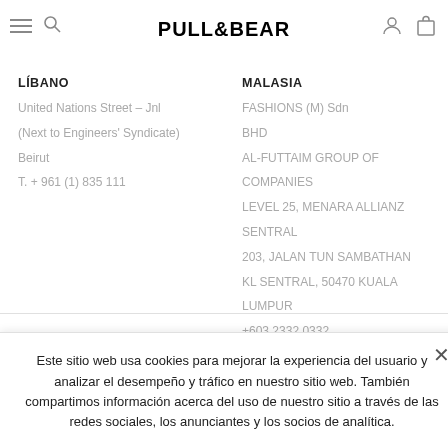PULL&BEAR
LÍBANO
United Nations Street - Jnl
(Next to Engineers' Syndicate)
Beirut
T. + 961 (1) 835 111
MALASIA
FASHIONS (M) Sdn BHD
AL-FUTTAIM GROUP OF COMPANIES
LEVEL 25, MENARA ALLIANZ SENTRAL
203, JALAN TUN SAMBATHAN
KL SENTRAL, 50470 KUALA LUMPUR
+603 2332 0332
Este sitio web usa cookies para mejorar la experiencia del usuario y analizar el desempeño y tráfico en nuestro sitio web. También compartimos información acerca del uso de nuestro sitio a través de las redes sociales, los anunciantes y los socios de analítica.